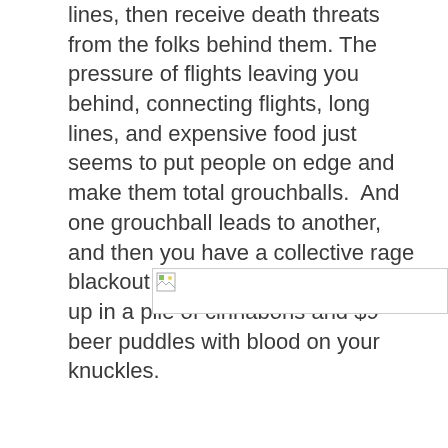lines, then receive death threats from the folks behind them. The pressure of flights leaving you behind, connecting flights, long lines, and expensive food just seems to put people on edge and make them total grouchballs.  And one grouchball leads to another, and then you have a collective rage blackout and forget how you ended up in a pile of cinnabons and $9 beer puddles with blood on your knuckles.
[Figure (photo): Broken image placeholder (image failed to load)]